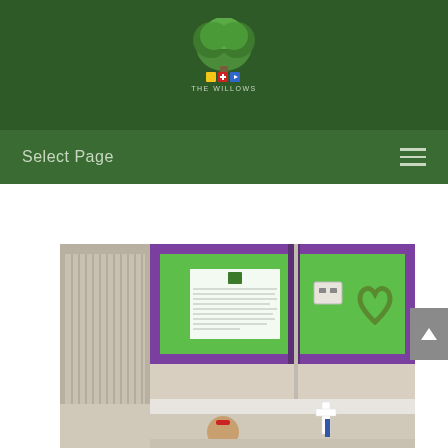The Willows School logo
Select Page
[Figure (photo): Classroom photo showing a green and purple bulletin board display, a heart-shaped wreath decoration, a radiator on the left, a white cross, and a young girl with red hair tie sitting at a desk in the foreground.]